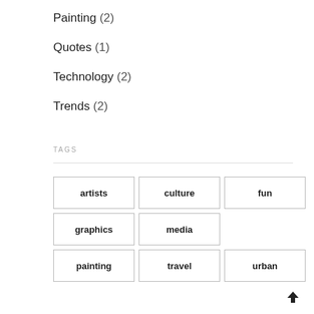Painting (2)
Quotes (1)
Technology (2)
Trends (2)
TAGS
artists
culture
fun
graphics
media
painting
travel
urban